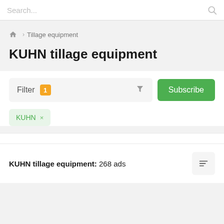Search...
Home > Tillage equipment
KUHN tillage equipment
Filter 1
Subscribe
KUHN ×
KUHN tillage equipment: 268 ads